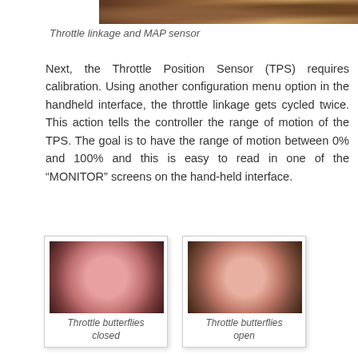[Figure (photo): Top portion of a photo showing throttle linkage and MAP sensor]
Throttle linkage and MAP sensor
Next, the Throttle Position Sensor (TPS) requires calibration. Using another configuration menu option in the handheld interface, the throttle linkage gets cycled twice. This action tells the controller the range of motion of the TPS. The goal is to have the range of motion between 0% and 100% and this is easy to read in one of the “MONITOR” screens on the hand-held interface.
[Figure (photo): Throttle butterflies closed - top-down view of four-barrel throttle body showing closed butterfly valves]
Throttle butterflies closed
[Figure (photo): Throttle butterflies open - top-down view of four-barrel throttle body showing open butterfly valves]
Throttle butterflies open